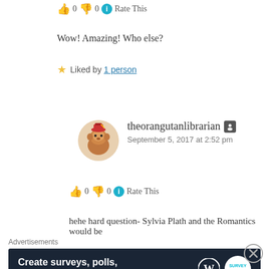👍 0 👎 0 ℹ Rate This
Wow! Amazing! Who else?
★ Liked by 1 person
theorangutanlibrarian
September 5, 2017 at 2:52 pm
👍 0 👎 0 ℹ Rate This
hehe hard question- Sylvia Plath and the Romantics would be
Advertisements
[Figure (screenshot): Advertisement banner: 'Create surveys, polls, quizzes, and forms.' with WordPress and SurveyMonkey logos on dark navy background]